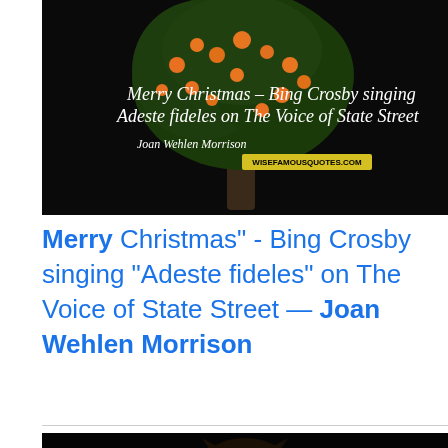[Figure (illustration): Dark background image of an orange/fruit tree with white cursive text overlay reading 'Merry Christmas - Bing Crosby singing Adeste fideles on The Voice of State Street' and attribution 'Joan Wehlen Morrison', with wisefamousquotes.com watermark]
Merry Christmas" - Bing Crosby singing "Adeste fideles" on The Voice of State Street — Joan Wehlen Morrison
[Figure (photo): Dark image showing the face of a cat or similar animal, partially visible at bottom of page]